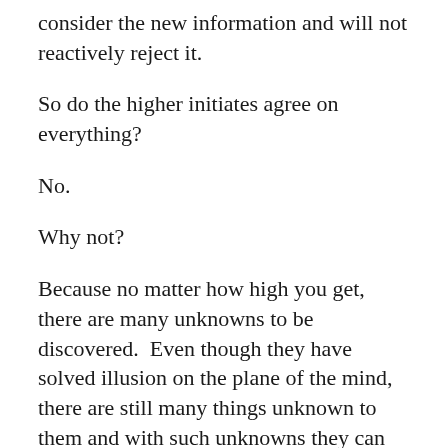consider the new information and will not reactively reject it.
So do the higher initiates agree on everything?
No.
Why not?
Because no matter how high you get, there are many unknowns to be discovered.  Even though they have solved illusion on the plane of the mind, there are still many things unknown to them and with such unknowns they can only theorize and guess about all the truth involved.
Not knowing an unknown is not illusion if you know you do not know.  If you do not know how many beans are in a jar you know you do not know and there is no illusion.  If you think you have some special gift to guess the correct number of beans, then that is illusion.